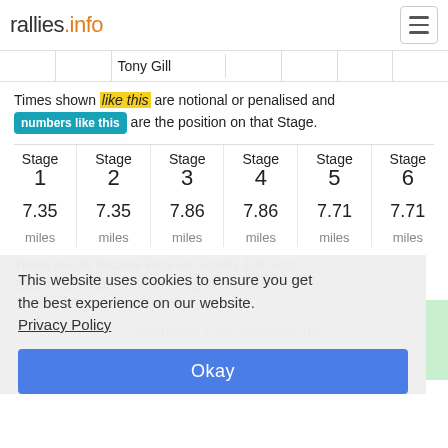rallies.info
|  |  | Tony Gill |  |  |  |  |
| --- | --- | --- | --- | --- | --- | --- |
|  |
Times shown like this are notional or penalised and numbers like this are the position on that Stage.
| Stage 1 | Stage 2 | Stage 3 | Stage 4 | Stage 5 | Stage 6 |
| --- | --- | --- | --- | --- | --- |
| 7.35 | 7.35 | 7.86 | 7.86 | 7.71 | 7.71 |
| miles | miles | miles | miles | miles | miles |
These results became Final on Sunday 10th April 2022 at 16:00 BST and were signed by Andy Turnbull (Clerk of the Course)
This website uses cookies to ensure you get the best experience on our website. Privacy Policy
Okay
Download PDF documents